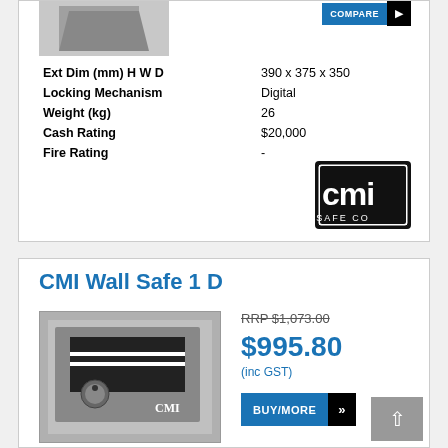| Spec | Value |
| --- | --- |
| Ext Dim (mm) H W D | 390 x 375 x 350 |
| Locking Mechanism | Digital |
| Weight (kg) | 26 |
| Cash Rating | $20,000 |
| Fire Rating | - |
[Figure (logo): CMI Safe Co logo - black rectangle with white CMI text and SAFE CO below]
CMI Wall Safe 1 D
[Figure (photo): Photo of CMI Wall Safe 1 D - grey wall safe with black panel and combination dial]
RRP $1,073.00
$995.80
(inc GST)
BUY/MORE